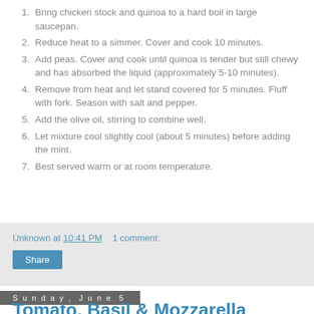Bring chicken stock and quinoa to a hard boil in large saucepan.
Reduce heat to a simmer.  Cover and cook 10 minutes.
Add peas.  Cover and cook until quinoa is tender but still chewy and has absorbed the liquid (approximately 5-10 minutes).
Remove from heat and let stand covered for 5 minutes.  Fluff with fork.  Season with salt and pepper.
Add the olive oil, stirring to combine well.
Let mixture cool slightly cool (about 5 minutes) before adding the mint.
Best served warm or at room temperature.
Unknown at 10:41 PM    1 comment:
Share
Sunday, June 5
Tomato, Basil & Mozzarella Poppers